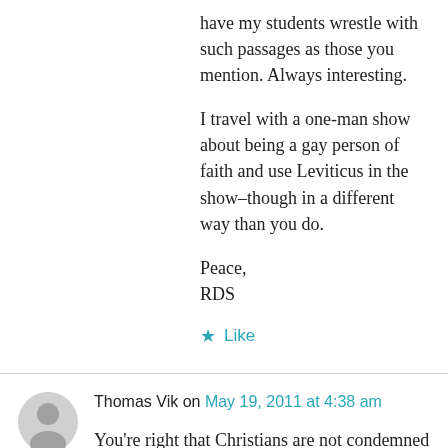have my students wrestle with such passages as those you mention. Always interesting.
I travel with a one-man show about being a gay person of faith and use Leviticus in the show–though in a different way than you do.
Peace,
RDS
★ Like
Thomas Vik on May 19, 2011 at 4:38 am
You're right that Christians are not condemned by the Law. The Law was given to Israel as a specific means of regulating human behaviour at the time of the Exodus. The death of Jesus